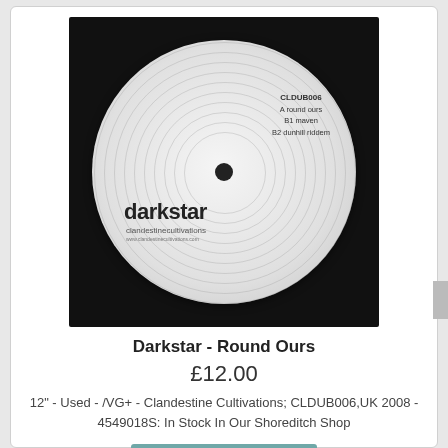[Figure (photo): A vinyl record (12 inch) label showing 'darkstar' and 'clandestinecultivations', with track listing: CLDUB006, A round ours, B1 maven, B2 dunhill riddem, on a black record background.]
Darkstar - Round Ours
£12.00
12" - Used - /VG+ - Clandestine Cultivations; CLDUB006,UK 2008 - 4549018S: In Stock In Our Shoreditch Shop
Add to Cart